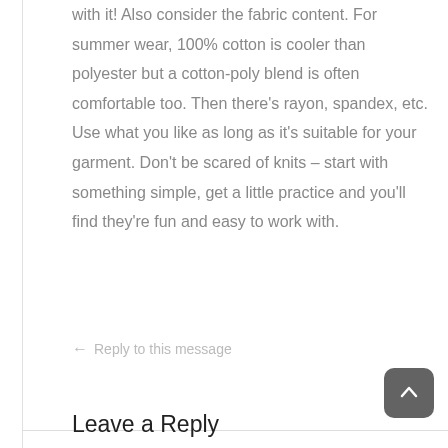with it! Also consider the fabric content. For summer wear, 100% cotton is cooler than polyester but a cotton-poly blend is often comfortable too. Then there's rayon, spandex, etc. Use what you like as long as it's suitable for your garment. Don't be scared of knits – start with something simple, get a little practice and you'll find they're fun and easy to work with.
← Reply to this message
Leave a Reply